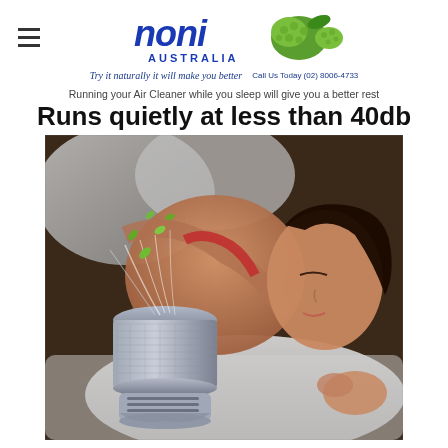noni AUSTRALIA — Try it naturally it will make you better — Call Us Today (02) 8006-4733
Running your Air Cleaner while you sleep will give you a better rest
Runs quietly at less than 40db
[Figure (photo): Woman sleeping peacefully in bed next to a cylindrical air purifier/cleaner device, which emits green leaf-shaped air flow graphics upward. The woman is resting on white pillows, wearing a red top, eyes closed.]